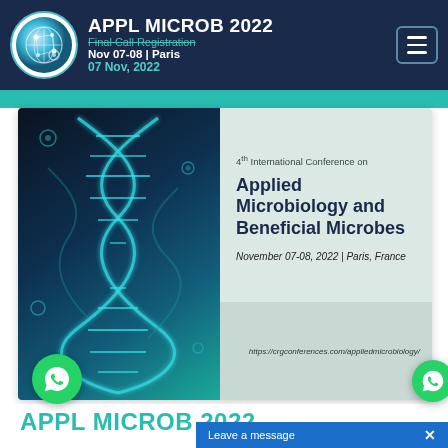APPL MICROB 2022 | Final Call Registration | Nov 07-08 | Paris | 07 Nov, 2022
[Figure (screenshot): Conference banner showing DNA helix image on left and conference details on right. Text reads: 4th International Conference on Applied Microbiology and Beneficial Microbes. November 07-08, 2022 | Paris, France. https://crgconferences.com/appliedmicrobiology/]
APPL MICROB 2022